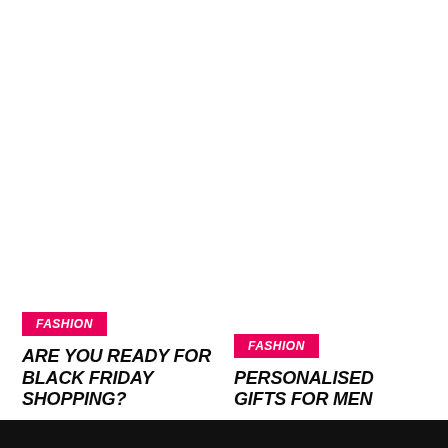[Figure (photo): Left column image placeholder (white/blank area above Fashion badge)]
FASHION
ARE YOU READY FOR BLACK FRIDAY SHOPPING?
[Figure (photo): Right column image placeholder (white/blank area above Fashion badge)]
FASHION
PERSONALISED GIFTS FOR MEN